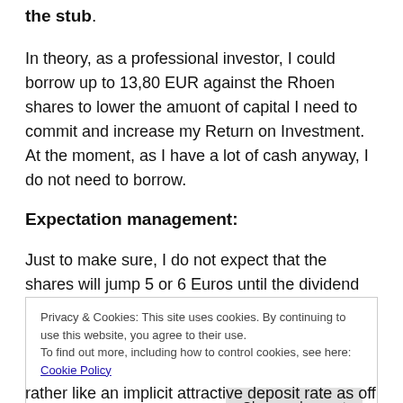the stub.
In theory, as a professional investor, I could borrow up to 13,80 EUR against the Rhoen shares to lower the amuont of capital I need to commit and increase my Return on Investment. At the moment, as I have a lot of cash anyway, I do not need to borrow.
Expectation management:
Just to make sure, I do not expect that the shares will jump 5 or 6 Euros until the dividend will be paid. One
Privacy & Cookies: This site uses cookies. By continuing to use this website, you agree to their use.
To find out more, including how to control cookies, see here: Cookie Policy
rather like an implicit attractive deposit rate as off set